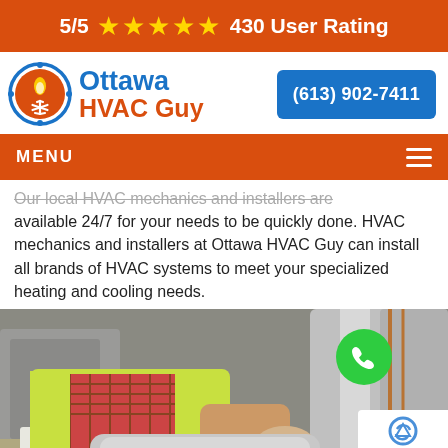5/5 ★★★★★ 430 User Rating
[Figure (logo): Ottawa HVAC Guy logo with circular icon showing flame and snowflake]
(613) 902-7411
MENU
Our local HVAC mechanics and installers are available 24/7 for your needs to be quickly done. HVAC mechanics and installers at Ottawa HVAC Guy can install all brands of HVAC systems to meet your specialized heating and cooling needs.
[Figure (photo): HVAC technician in yellow safety vest and plaid shirt working on metal ductwork in a mechanical room]